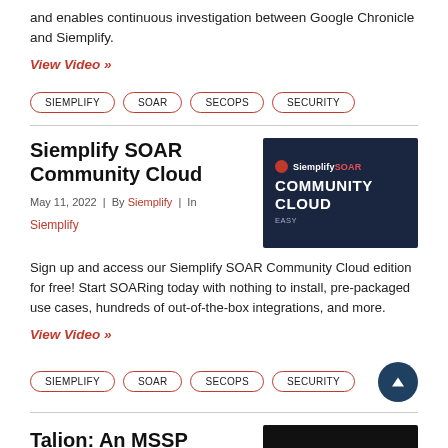and enables continuous investigation between Google Chronicle and Siemplify.
View Video »
SIEMPLIFY | SOAR | SECOPS | SECURITY
Siemplify SOAR Community Cloud
May 11, 2022 | By Siemplify | In
Siemplify
[Figure (screenshot): Siemplify SOAR Community Cloud thumbnail image with dark blue background, Siemplify SOAR logo and text COMMUNITY CLOUD]
Sign up and access our Siemplify SOAR Community Cloud edition for free! Start SOARing today with nothing to install, pre-packaged use cases, hundreds of out-of-the-box integrations, and more.
View Video »
SIEMPLIFY | SOAR | SECOPS | SECURITY
Talion: An MSSP
[Figure (screenshot): Dark thumbnail image for Talion article]